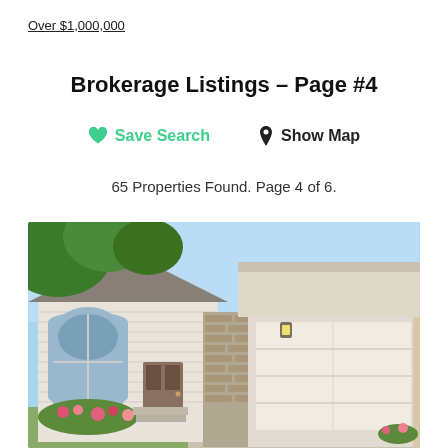Over $1,000,000
Brokerage Listings – Page #4
Save Search   Show Map
65 Properties Found. Page 4 of 6.
[Figure (photo): Exterior photo of a two-storey residential home with white siding, arched windows, brick pillar, attached two-car garage, and landscaped front yard with flowers, taken on a sunny day.]